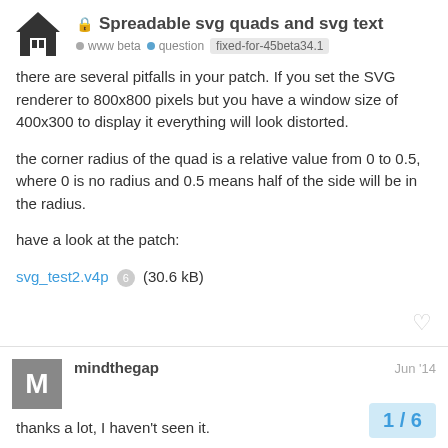Spreadable svg quads and svg text | www beta | question | fixed-for-45beta34.1
there are several pitfalls in your patch. If you set the SVG renderer to 800x800 pixels but you have a window size of 400x300 to display it everything will look distorted.
the corner radius of the quad is a relative value from 0 to 0.5, where 0 is no radius and 0.5 means half of the side will be in the radius.
have a look at the patch:
svg_test2.v4p 6 (30.6 kB)
mindthegap - Jun '14
thanks a lot, I haven't seen it.
is my way to store the rendered txture in a